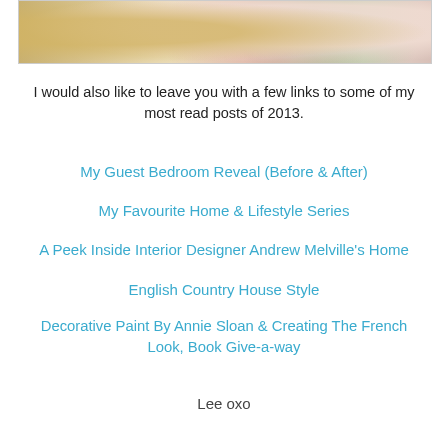[Figure (photo): Decorative bedroom pillows with floral and striped patterns, cropped at top of page]
I would also like to leave you with a few links to some of my most read posts of 2013.
My Guest Bedroom Reveal (Before & After)
My Favourite Home & Lifestyle Series
A Peek Inside Interior Designer Andrew Melville's Home
English Country House Style
Decorative Paint By Annie Sloan & Creating The French Look, Book Give-a-way
Lee oxo